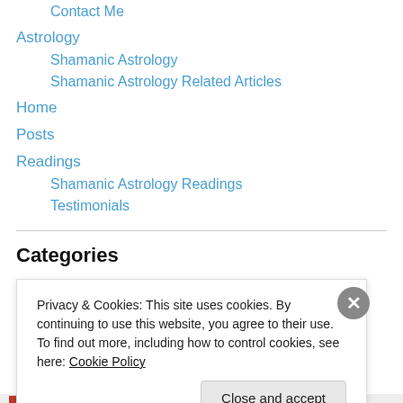Contact Me
Astrology
Shamanic Astrology
Shamanic Astrology Related Articles
Home
Posts
Readings
Shamanic Astrology Readings
Testimonials
Categories
Astrology
Privacy & Cookies: This site uses cookies. By continuing to use this website, you agree to their use.
To find out more, including how to control cookies, see here: Cookie Policy
Close and accept